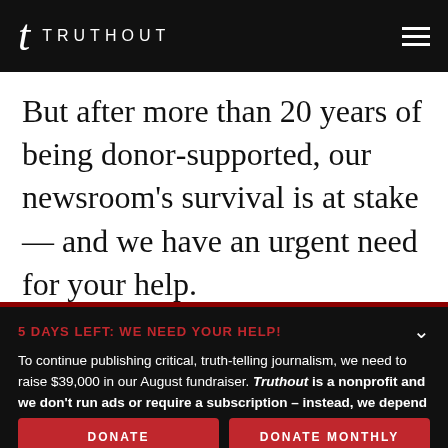TRUTHOUT
But after more than 20 years of being donor-supported, our newsroom's survival is at stake — and we have an urgent need for your help.
5 DAYS LEFT: WE NEED YOUR HELP!
To continue publishing critical, truth-telling journalism, we need to raise $39,000 in our August fundraiser. Truthout is a nonprofit and we don't run ads or require a subscription – instead, we depend on small donations to survive. Can we count on your support before time runs out?
DONATE   DONATE MONTHLY